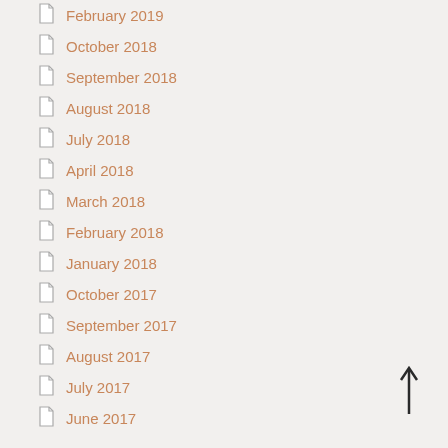February 2019
October 2018
September 2018
August 2018
July 2018
April 2018
March 2018
February 2018
January 2018
October 2017
September 2017
August 2017
July 2017
June 2017